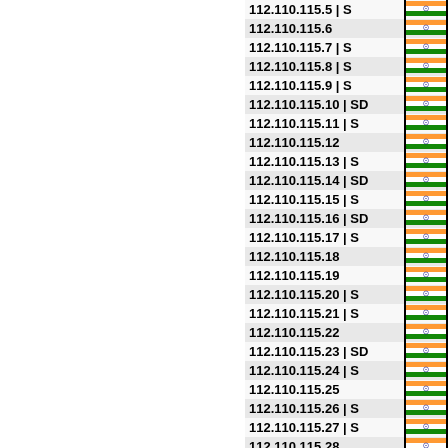| IP Address | Flag |
| --- | --- |
| 112.110.115.5 | S | IN |
| 112.110.115.6 | IN |
| 112.110.115.7 | S | IN |
| 112.110.115.8 | S | IN |
| 112.110.115.9 | S | IN |
| 112.110.115.10 | SD | IN |
| 112.110.115.11 | S | IN |
| 112.110.115.12 | IN |
| 112.110.115.13 | S | IN |
| 112.110.115.14 | SD | IN |
| 112.110.115.15 | S | IN |
| 112.110.115.16 | SD | IN |
| 112.110.115.17 | S | IN |
| 112.110.115.18 | IN |
| 112.110.115.19 | IN |
| 112.110.115.20 | S | IN |
| 112.110.115.21 | S | IN |
| 112.110.115.22 | IN |
| 112.110.115.23 | SD | IN |
| 112.110.115.24 | S | IN |
| 112.110.115.25 | IN |
| 112.110.115.26 | S | IN |
| 112.110.115.27 | S | IN |
| 112.110.115.28 | IN |